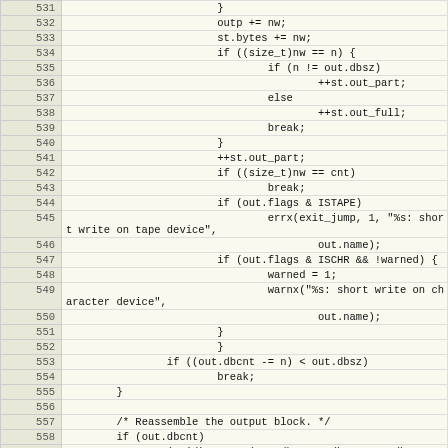[Figure (screenshot): Source code listing showing C code lines 531-559, with line numbers in a beige/tan left column and code in a light yellow-white right column. Code contains logic for writing output blocks, handling tape/character device short writes, and reassembling output blocks.]